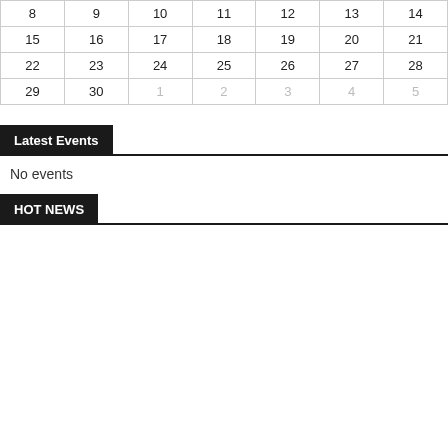| 8 | 9 | 10 | 11 | 12 | 13 | 14 |
| 15 | 16 | 17 | 18 | 19 | 20 | 21 |
| 22 | 23 | 24 | 25 | 26 | 27 | 28 |
| 29 | 30 | 1 | 2 | 3 | 4 | 5 |
Latest Events
No events
HOT NEWS